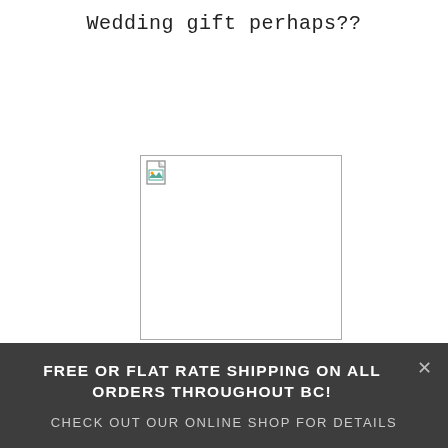Wedding gift perhaps??
[Figure (photo): Broken/missing image placeholder with a small broken image icon in the top-left corner, white background with thin border]
FREE OR FLAT RATE SHIPPING ON ALL ORDERS THROUGHOUT BC!
CHECK OUT OUR ONLINE SHOP FOR DETAILS